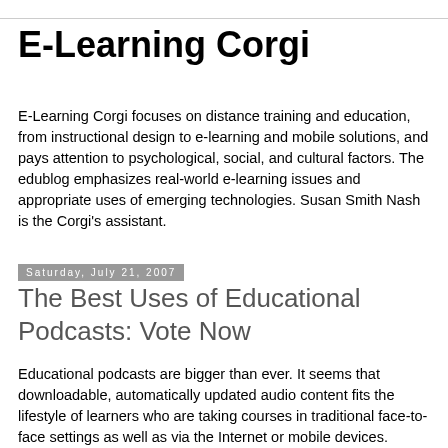E-Learning Corgi
E-Learning Corgi focuses on distance training and education, from instructional design to e-learning and mobile solutions, and pays attention to psychological, social, and cultural factors. The edublog emphasizes real-world e-learning issues and appropriate uses of emerging technologies. Susan Smith Nash is the Corgi's assistant.
Saturday, July 21, 2007
The Best Uses of Educational Podcasts: Vote Now
Educational podcasts are bigger than ever. It seems that downloadable, automatically updated audio content fits the lifestyle of learners who are taking courses in traditional face-to-face settings as well as via the Internet or mobile devices.